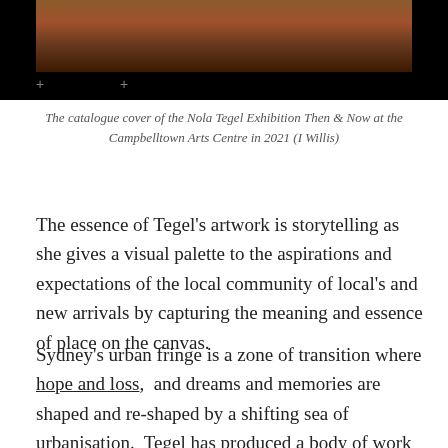[Figure (photo): Dark photograph showing a wooden or textured surface, catalogue cover image, displayed against a black background with crosshair plus markers visible]
The catalogue cover of the Nola Tegel Exhibition Then & Now at the Campbelltown Arts Centre in 2021 (I Willis)
The essence of Tegel’s artwork is storytelling as she gives a visual palette to the aspirations and expectations of the local community of local’s and new arrivals by capturing the meaning and essence of place on the canvas.
Sydney’s urban fringe is a zone of transition where hope and loss,  and dreams and memories are shaped and re-shaped by a shifting sea of urbanisation.  Tegel has produced a body of work that tells the story of  subtle nuances across the landscape that are only understood by those who have experienced them.  She reminds us all that the border between the rural and the urban fringe is